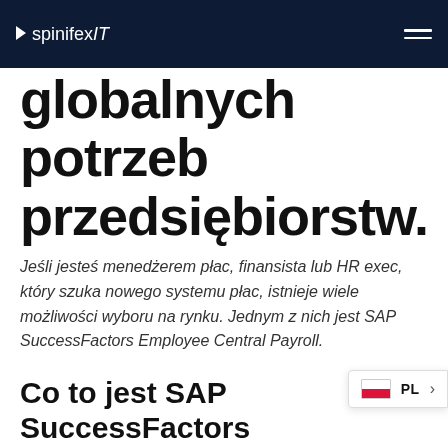spinifexIT
globalnych potrzeb przedsiębiorstw.
Jeśli jesteś menedżerem płac, finansista lub HR exec, który szuka nowego systemu płac, istnieje wiele możliwości wyboru na rynku. Jednym z nich jest SAP SuccessFactors Employee Central Payroll.
Co to jest SAP SuccessFactors Employee Central Payroll?
SuccessFactors Employee Central Payroll to oparty chmurze system płacowy, który ma zapewnić szeroką funkcjonalność i globalny zasięg … ebuja